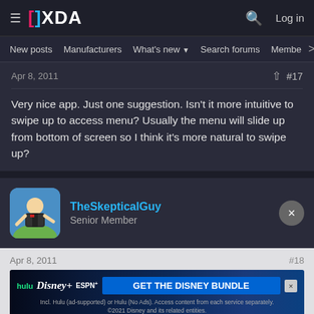XDA — New posts | Manufacturers | What's new | Search forums | Members
Apr 8, 2011    #17
Very nice app. Just one suggestion. Isn't it more intuitive to swipe up to access menu? Usually the menu will slide up from bottom of screen so I think it's more natural to swipe up?
TheSkepticalGuy
Senior Member
Apr 8, 2011    #18
[Figure (screenshot): GET THE DISNEY BUNDLE advertisement banner with Hulu, Disney+, ESPN+ logos]
Awesome App, I was tired of pressing the home button on my hdz.